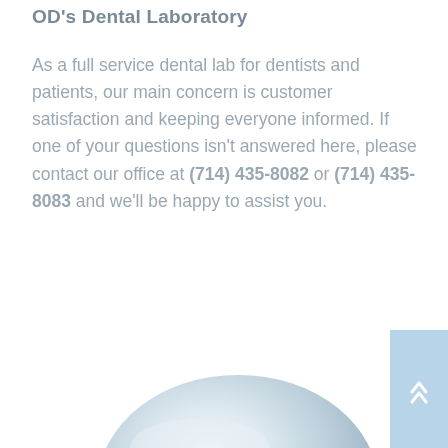OD's Dental Laboratory
As a full service dental lab for dentists and patients, our main concern is customer satisfaction and keeping everyone informed. If one of your questions isn't answered here, please contact our office at (714) 435-8082 or (714) 435-8083 and we'll be happy to assist you.
[Figure (photo): Partial view of a dental prosthetic or tooth model, circular shape, light grey/white tones, appearing at the bottom of the page. A light blue scroll-to-top button with double chevron arrows is visible at the bottom right.]